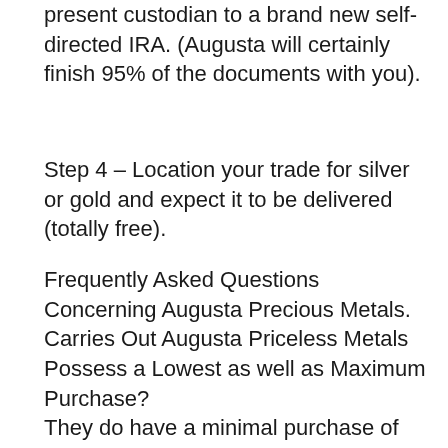present custodian to a brand new self-directed IRA. (Augusta will certainly finish 95% of the documents with you).
Step 4 – Location your trade for silver or gold and expect it to be delivered (totally free).
Frequently Asked Questions Concerning Augusta Precious Metals.
Carries Out Augusta Priceless Metals Possess a Lowest as well as Maximum Purchase?
They do have a minimal purchase of $50,000 for cash (non-IRA) investments and also $50,000 for IRA investments. The minimums required may be fulfilled through obtaining any blend of items you select. They do certainly not limit the max size of your order. Even if you intend to purchase a sizable